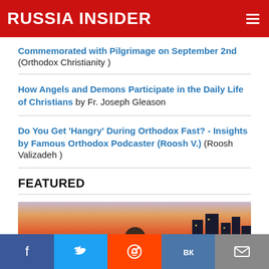RUSSIA INSIDER
Commemorated with Pilgrimage on September 2nd (Orthodox Christianity )
How Angels and Demons Participate in the Daily Life of Christians by Fr. Joseph Gleason
Do You Get 'Hangry' During Orthodox Fast? - Insights by Famous Orthodox Podcaster (Roosh V.) (Roosh Valizadeh )
FEATURED
[Figure (photo): Featured image showing a person in foreground with city skyline silhouette against colorful sunset/dusk sky]
Social share bar: Facebook, Twitter, Reddit, VK, Email